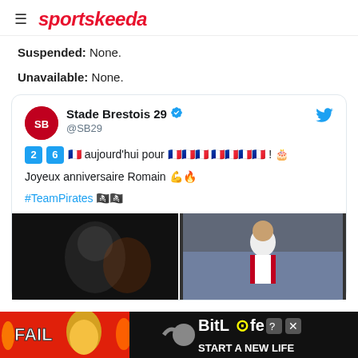sportskeeda
Suspended: None.
Unavailable: None.
[Figure (screenshot): Embedded tweet from Stade Brestois 29 (@SB29) with verified badge. Tweet reads: '2 6 [emoji flags] aujourd'hui pour [emoji text] ! 🎂 Joyeux anniversaire Romain 💪🔥 #TeamPirates [flag emojis]'. Below the tweet text are two side-by-side photos of a footballer.]
[Figure (photo): Advertisement banner for BitLife game showing 'FAIL' text, cartoon character, flames, and 'START A NEW LIFE' text on red/black background.]